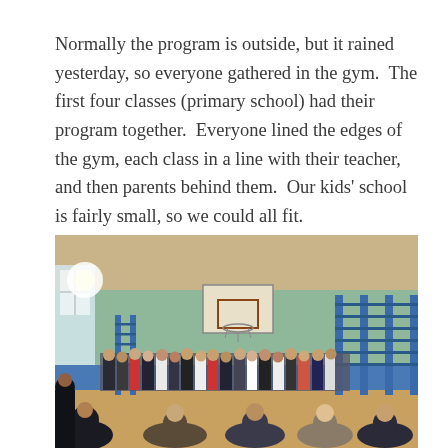Normally the program is outside, but it rained yesterday, so everyone gathered in the gym.  The first four classes (primary school) had their program together.  Everyone lined the edges of the gym, each class in a line with their teacher, and then parents behind them.  Our kids' school is fairly small, so we could all fit.
[Figure (photo): Interior of a school gymnasium with students and parents lined along the edges. The gym has blue lower walls and green upper walls, a basketball hoop mounted on the far wall, and blue wall-mounted gymnastics bars on the right. A crowd of children in school uniforms and adults are gathered along the sides of the gym floor.]